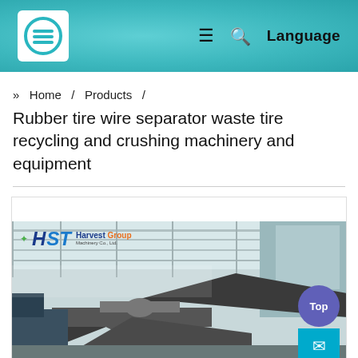HST Harvest Group Machinery Co., Ltd. — Navigation header with logo, menu icon, search icon, Language
» Home / Products /
Rubber tire wire separator waste tire recycling and crushing machinery and equipment
[Figure (photo): Industrial machinery photo showing rubber tire wire separator equipment inside a factory, with HST Harvest Group Machinery Co., Ltd. logo overlay. Large mechanical conveyors and pipes visible inside a factory building. A purple 'Top' button and a blue mail/envelope button appear in the lower-right corner.]